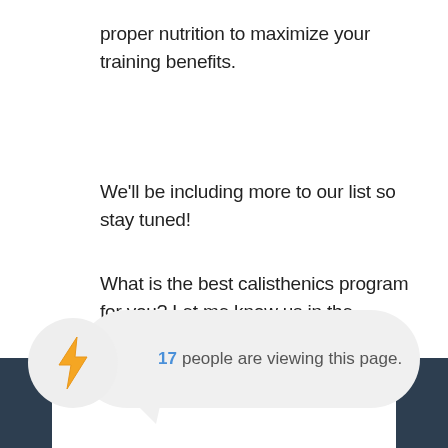proper nutrition to maximize your training benefits.
We'll be including more to our list so stay tuned!
What is the best calisthenics program for you? Let me know us in the comment section below.
[Figure (infographic): Notification widget showing a speech bubble with a lightning bolt icon and text '17 people are viewing this page.' The number 17 is highlighted in blue.]